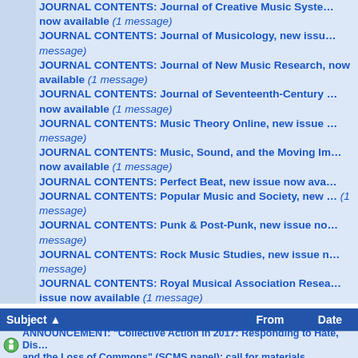JOURNAL CONTENTS: Journal of Creative Music Systems, new issue now available (1 message)
JOURNAL CONTENTS: Journal of Musicology, new issue now available (1 message)
JOURNAL CONTENTS: Journal of New Music Research, new issue now available (1 message)
JOURNAL CONTENTS: Journal of Seventeenth-Century Music, new issue now available (1 message)
JOURNAL CONTENTS: Music Theory Online, new issue now available (1 message)
JOURNAL CONTENTS: Music, Sound, and the Moving Image, new issue now available (1 message)
JOURNAL CONTENTS: Perfect Beat, new issue now available
JOURNAL CONTENTS: Popular Music and Society, new issue now available (1 message)
JOURNAL CONTENTS: Punk & Post-Punk, new issue now available (1 message)
JOURNAL CONTENTS: Rock Music Studies, new issue now available (1 message)
JOURNAL CONTENTS: Royal Musical Association Research Chronicle, new issue now available (1 message)
JOURNAL CONTENTS: Tempo, new issue now available
JOURNAL CONTENTS: The Wagner Journal, new issue now available (1 message)
JOURNAL CONTENTS: Understanding Bach 12 (2017), now available (1 message)
| Subject | From | Date |
| --- | --- | --- |
| ANNOUNCEMENT: "Collective Action in 2017: Responding to Hate, Dis... and the Loss of Commons" (SCMS panel): call for materials |  |  |